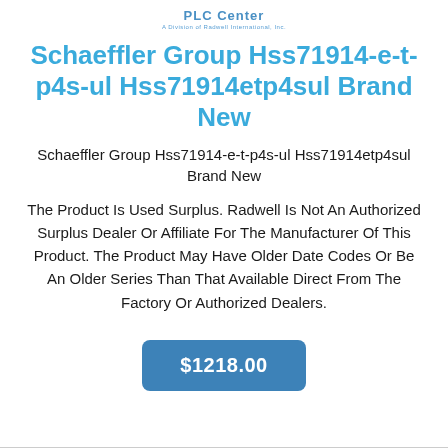PLC Center
Schaeffler Group Hss71914-e-t-p4s-ul Hss71914etp4sul Brand New
Schaeffler Group Hss71914-e-t-p4s-ul Hss71914etp4sul Brand New
The Product Is Used Surplus. Radwell Is Not An Authorized Surplus Dealer Or Affiliate For The Manufacturer Of This Product. The Product May Have Older Date Codes Or Be An Older Series Than That Available Direct From The Factory Or Authorized Dealers.
$1218.00